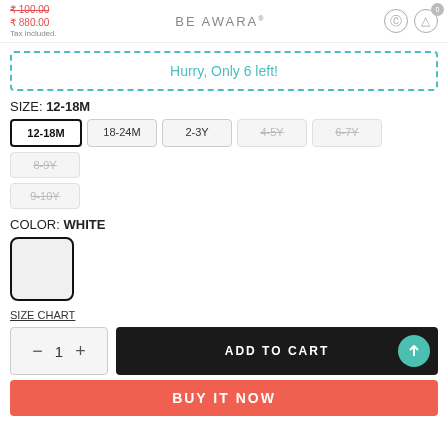BE AWARA — Tax included.
Hurry, Only 6 left!
SIZE: 12-18M
12-18M (selected), 18-24M, 2-3Y, 4-5Y (unavailable), 6-7Y (unavailable), 8-9Y (unavailable), 9-10Y (unavailable)
COLOR: WHITE
[Figure (other): White color swatch box with black border]
SIZE CHART
ADD TO CART
BUY IT NOW